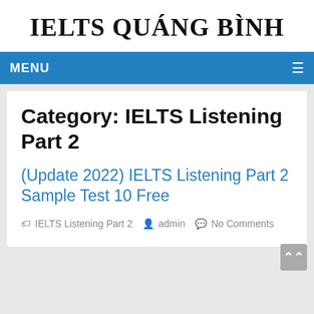IELTS QUÁNG BÌNH
MENU
Category: IELTS Listening Part 2
(Update 2022) IELTS Listening Part 2 Sample Test 10 Free
IELTS Listening Part 2   admin   No Comments